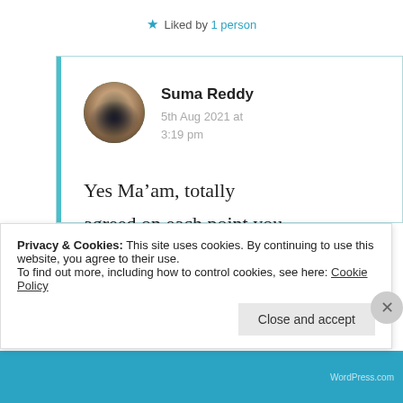★ Liked by 1 person
Suma Reddy
5th Aug 2021 at 3:19 pm
Yes Ma’am, totally agreed on each point you mentioned n my sincere
Privacy & Cookies: This site uses cookies. By continuing to use this website, you agree to their use.
To find out more, including how to control cookies, see here: Cookie Policy
Close and accept